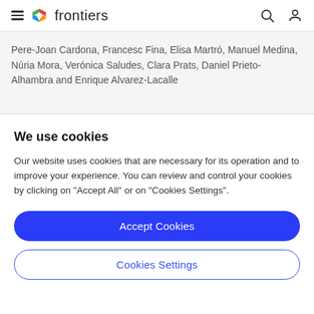frontiers
Pere-Joan Cardona, Francesc Fina, Elisa Martró, Manuel Medina, Núria Mora, Verónica Saludes, Clara Prats, Daniel Prieto-Alhambra and Enrique Alvarez-Lacalle
We use cookies
Our website uses cookies that are necessary for its operation and to improve your experience. You can review and control your cookies by clicking on "Accept All" or on "Cookies Settings".
Accept Cookies
Cookies Settings